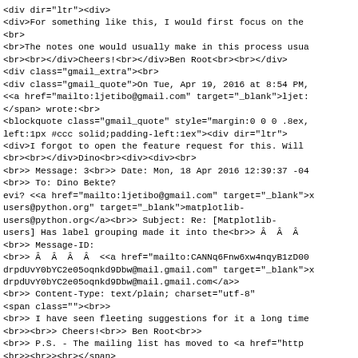<div dir="ltr"><div>
<div>For something like this, I would first focus on the
<br>
<br>The notes one would usually make in this process usua
<br><br></div>Cheers!<br></div>Ben Root<br><br></div>
<div class="gmail_extra"><br>
<div class="gmail_quote">On Tue, Apr 19, 2016 at 8:54 PM,
<<a href="mailto:ljetibo@gmail.com" target="_blank">ljet:
</span> wrote:<br>
<blockquote class="gmail_quote" style="margin:0 0 0 .8ex,
left:1px #ccc solid;padding-left:1ex"><div dir="ltr">
<div>I forgot to open the feature request for this. Will
<br><br></div>Dino<br><div><div><br>
<br>> Message: 3<br>> Date: Mon, 18 Apr 2016 12:39:37 -04
<br>> To: Dino Bekte?
evi? <<a href="mailto:ljetibo@gmail.com" target="_blank">x
users@python.org" target="_blank">matplotlib-
users@python.org</a><br>> Subject: Re: [Matplotlib-
users] Has label grouping made it into the<br>>  Â  Â  Â
<br>> Message-ID:
<br>>  Â  Â  Â  Â  <<a href="mailto:CANNq6Fnw6xw4nqyB1zD00
drpdUvY0bYC2e05oqnkd9Dbw@mail.gmail.com" target="_blank">x
drpdUvY0bYC2e05oqnkd9Dbw@mail.gmail.com</a>>
<br>> Content-Type: text/plain; charset="utf-8"
<span class=""><br>>
<br>> I have seen fleeting suggestions for it a long time
<br>><br>> Cheers!<br>> Ben Root<br>>
<br>> P.S. - The mailing list has moved to <a href="http
<br>><br>><br></span>
<span class="">x On Sat, Apr 16, 2016 at 9:39 PM, Dino